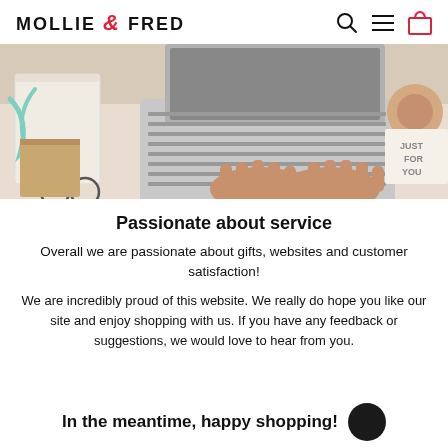MOLLIE & FRED
[Figure (photo): Overhead view of hands typing on a laptop keyboard on a desk with notebooks, ribbon, glasses, and a wrapped gift]
Passionate about service
Overall we are passionate about gifts, websites and customer satisfaction!
We are incredibly proud of this website. We really do hope you like our site and enjoy shopping with us. If you have any feedback or suggestions, we would love to hear from you.
In the meantime, happy shopping!